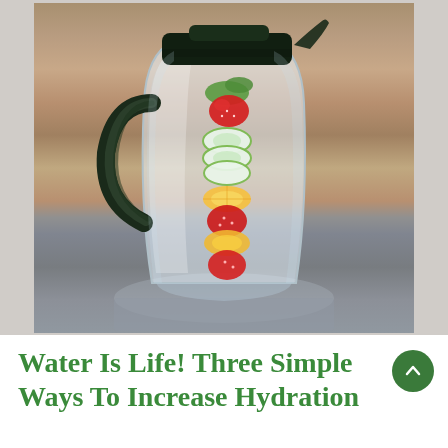[Figure (photo): A clear glass pitcher with a black lid filled with water and infused fruits including strawberries, cucumber slices, and orange/lemon slices, placed on a stone surface with a weathered wood fence background.]
Water Is Life! Three Simple Ways To Increase Hydration